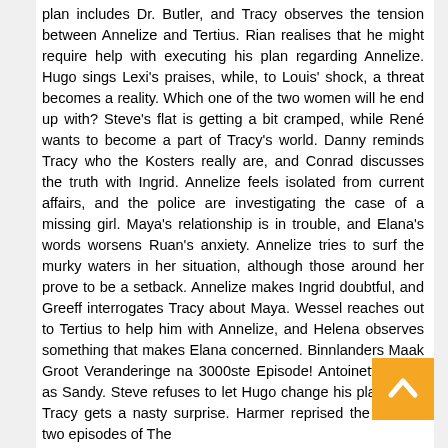plan includes Dr. Butler, and Tracy observes the tension between Annelize and Tertius. Rian realises that he might require help with executing his plan regarding Annelize. Hugo sings Lexi's praises, while, to Louis' shock, a threat becomes a reality. Which one of the two women will he end up with? Steve's flat is getting a bit cramped, while René wants to become a part of Tracy's world. Danny reminds Tracy who the Kosters really are, and Conrad discusses the truth with Ingrid. Annelize feels isolated from current affairs, and the police are investigating the case of a missing girl. Maya's relationship is in trouble, and Elana's words worsens Ruan's anxiety. Annelize tries to surf the murky waters in her situation, although those around her prove to be a setback. Annelize makes Ingrid doubtful, and Greeff interrogates Tracy about Maya. Wessel reaches out to Tertius to help him with Annelize, and Helena observes something that makes Elana concerned. Binnlanders Maak Groot Veranderinge na 3000ste Episode! Antoinette Louw as Sandy. Steve refuses to let Hugo change his plans, and Tracy gets a nasty surprise. Harmer reprised the role for two episodes of The
[Figure (other): Back-to-top button: orange/amber square with a white upward-pointing chevron arrow]